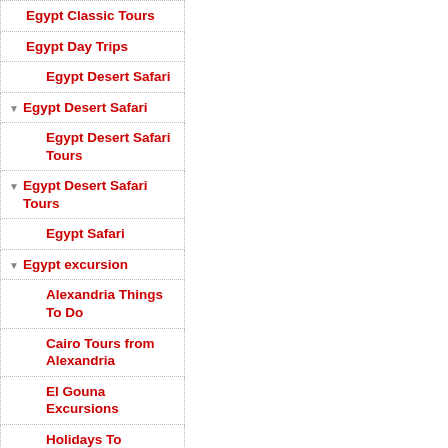Egypt Classic Tours
Egypt Day Trips
Egypt Desert Safari
Egypt Desert Safari
Egypt Desert Safari Tours
Egypt Desert Safari Tours
Egypt Safari
Egypt excursion
Alexandria Things To Do
Cairo Tours from Alexandria
El Gouna Excursions
Holidays To Hurghada
Places To Visit In Egypt
Egypt Excursions and Day Tours